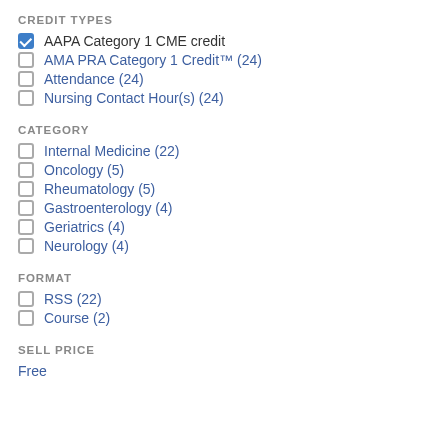CREDIT TYPES
AAPA Category 1 CME credit (checked)
AMA PRA Category 1 Credit™ (24)
Attendance (24)
Nursing Contact Hour(s) (24)
CATEGORY
Internal Medicine (22)
Oncology (5)
Rheumatology (5)
Gastroenterology (4)
Geriatrics (4)
Neurology (4)
FORMAT
RSS (22)
Course (2)
SELL PRICE
Free